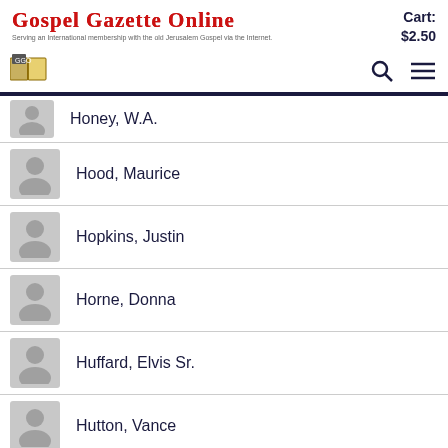Gospel Gazette Online
Serving an International membership with the old Jerusalem Gospel via the Internet.
Cart: $2.50
Honey, W.A.
Hood, Maurice
Hopkins, Justin
Horne, Donna
Huffard, Elvis Sr.
Hutton, Vance
Ijams, E.H.